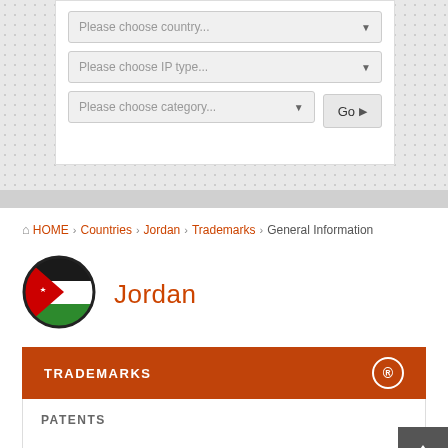[Figure (screenshot): Web form with three dropdowns: 'Please choose country...', 'Please choose IP type...', 'Please choose category...' and a Go button, on a dotted gray background]
HOME > Countries > Jordan > Trademarks > General Information
[Figure (illustration): Circular flag icon of Jordan showing black, white, and green horizontal stripes with a red triangle and white star]
Jordan
TRADEMARKS
PATENTS